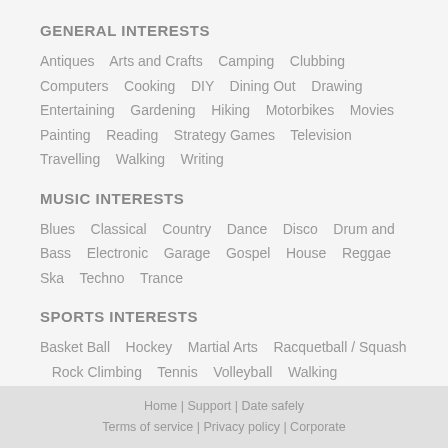GENERAL INTERESTS
Antiques   Arts and Crafts   Camping   Clubbing   Computers   Cooking   DIY   Dining Out   Drawing   Entertaining   Gardening   Hiking   Motorbikes   Movies   Painting   Reading   Strategy Games   Television   Travelling   Walking   Writing
MUSIC INTERESTS
Blues   Classical   Country   Dance   Disco   Drum and Bass   Electronic   Garage   Gospel   House   Reggae   Ska   Techno   Trance
SPORTS INTERESTS
Basket Ball   Hockey   Martial Arts   Racquetball / Squash   Rock Climbing   Tennis   Volleyball   Walking
Home | Support | Date safely
Terms of service | Privacy policy | Corporate